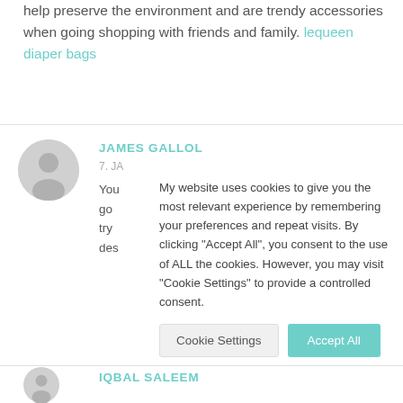help preserve the environment and are trendy accessories when going shopping with friends and family. lequeen diaper bags
JAMES GALLOL
7. JA
You go try des
My website uses cookies to give you the most relevant experience by remembering your preferences and repeat visits. By clicking "Accept All", you consent to the use of ALL the cookies. However, you may visit "Cookie Settings" to provide a controlled consent.
IQBAL SALEEM